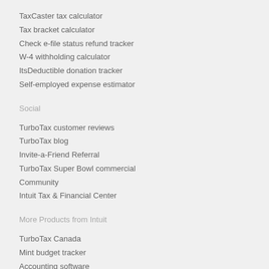TaxCaster tax calculator
Tax bracket calculator
Check e-file status refund tracker
W-4 withholding calculator
ItsDeductible donation tracker
Self-employed expense estimator
Social
TurboTax customer reviews
TurboTax blog
Invite-a-Friend Referral
TurboTax Super Bowl commercial
Community
Intuit Tax & Financial Center
More Products from Intuit
TurboTax Canada
Mint budget tracker
Accounting software
Payroll